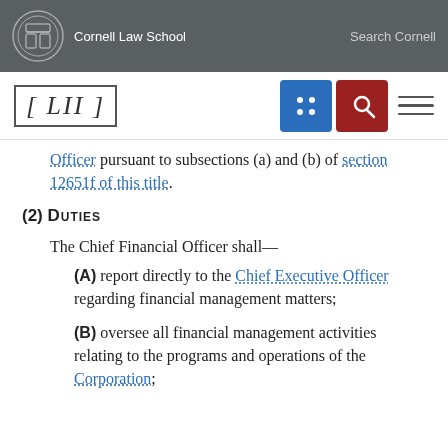Cornell Law School | Search Cornell
[Figure (logo): LII Legal Information Institute logo with Cornell Law School branding and navigation icons]
Officer pursuant to subsections (a) and (b) of section 12651f of this title.
(2) Duties
The Chief Financial Officer shall—
(A) report directly to the Chief Executive Officer regarding financial management matters;
(B) oversee all financial management activities relating to the programs and operations of the Corporation;